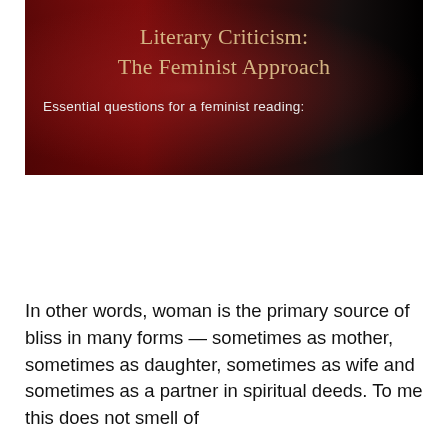[Figure (other): Banner image with dark red and black gradient background containing the title 'Literary Criticism: The Feminist Approach' and subtitle 'Essential questions for a feminist reading:']
In other words, woman is the primary source of bliss in many forms — sometimes as mother, sometimes as daughter, sometimes as wife and sometimes as a partner in spiritual deeds. To me this does not smell of Catholic orthodoxy, to say the least, familiar by the